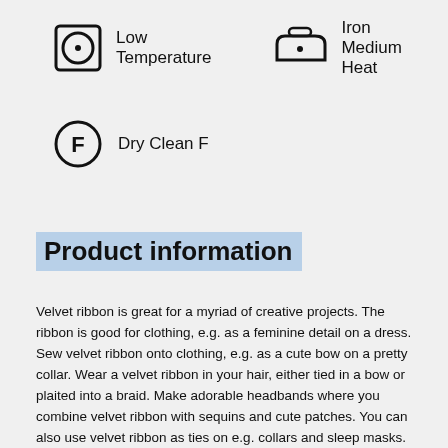[Figure (illustration): Low Temperature laundry care symbol: square with circle inside, dot in center]
Low Temperature
[Figure (illustration): Iron Medium Heat care symbol: iron shape with dot in center]
Iron Medium Heat
[Figure (illustration): Dry Clean F care symbol: circle with letter F inside]
Dry Clean F
Product information
Velvet ribbon is great for a myriad of creative projects. The ribbon is good for clothing, e.g. as a feminine detail on a dress. Sew velvet ribbon onto clothing, e.g. as a cute bow on a pretty collar. Wear a velvet ribbon in your hair, either tied in a bow or plaited into a braid. Make adorable headbands where you combine velvet ribbon with sequins and cute patches. You can also use velvet ribbon as ties on e.g. collars and sleep masks. Velvet ribbon is good for decoration, as a tie or as a decorative ribbon. For example, you can tie the ribbon around fabric napkins on a festive dinner table to impress your guests. You can also use it in beautiful floral decorations. Velvet ribbon is also ideal as a gift ribbon. Your gift wrapping becomes a miniature work of art.